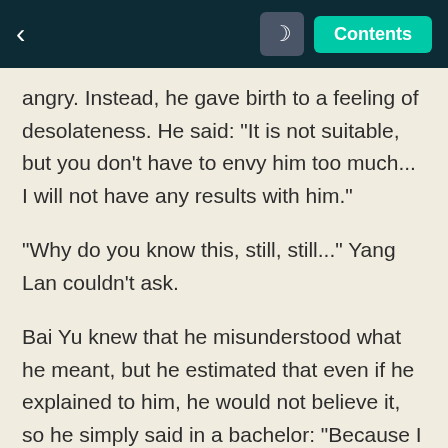< [moon icon] Contents
angry. Instead, he gave birth to a feeling of desolateness. He said: "It is not suitable, but you don't have to envy him too much... I will not have any results with him."
"Why do you know this, still, still..." Yang Lan couldn't ask.
Bai Yu knew that he misunderstood what he meant, but he estimated that even if he explained to him, he would not believe it, so he simply said in a bachelor: "Because I am a wayward and reckless fool."Yang Lan is really speechless this time.